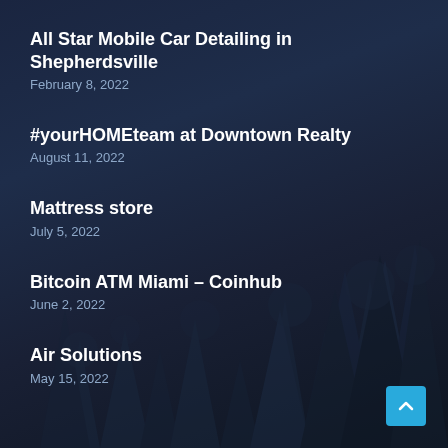All Star Mobile Car Detailing in Shepherdsville
February 8, 2022
#yourHOMEteam at Downtown Realty
August 11, 2022
Mattress store
July 5, 2022
Bitcoin ATM Miami – Coinhub
June 2, 2022
Air Solutions
May 15, 2022